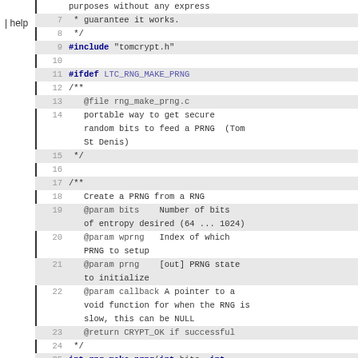help
Source code listing showing lines 7-26 of rng_make_prng.c from the libtomcrypt library, including #include, #ifdef, doxygen comments, and function signature for rng_make_prng.